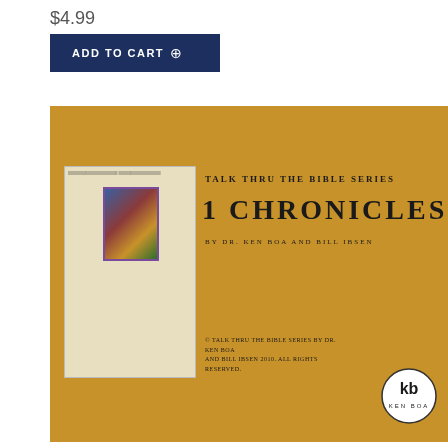$4.99
ADD TO CART ⊕
[Figure (photo): Book cover for Talk Thru the Bible Series: 1 Chronicles by Dr. Ken Boa and Bill Ibsen. Golden/amber background with an illuminated manuscript on the left side and title text on the right. Ken Boa logo circle at bottom right.]
Talk Thru Overview 1 Chronicles Teacher Kit
$4.99